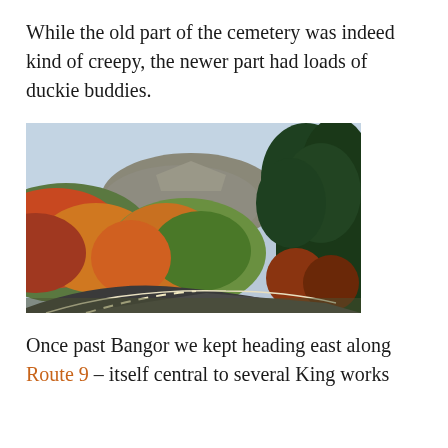While the old part of the cemetery was indeed kind of creepy, the newer part had loads of duckie buddies.
[Figure (photo): A winding road in autumn with colorful foliage-covered hills and a rocky summit in the background under a pale blue sky.]
Once past Bangor we kept heading east along Route 9 – itself central to several King works